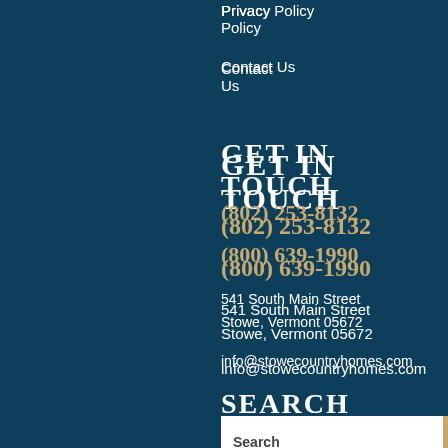Privacy Policy
Contact Us
GET IN TOUCH
(802) 253-8132
(800) 639-1990
541 South Main Street
Stowe, Vermont 05672
info@stowecountryhomes.com
SEARCH
[Figure (other): Search input box with placeholder text 'Search' and a tan/gold search button with magnifier icon]